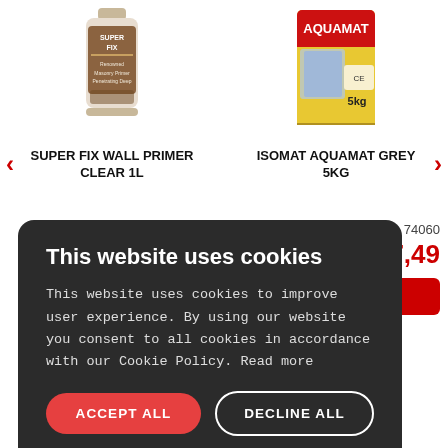[Figure (photo): Super Fix Wall Primer Clear 1L product bottle photo]
[Figure (photo): Isomat Aquamat Grey 5kg product bag photo]
SUPER FIX WALL PRIMER CLEAR 1L
ISOMAT AQUAMAT GREY 5KG
74060
7,49
ick Add
This website uses cookies
This website uses cookies to improve user experience. By using our website you consent to all cookies in accordance with our Cookie Policy. Read more
ACCEPT ALL
DECLINE ALL
SHOW DETAILS